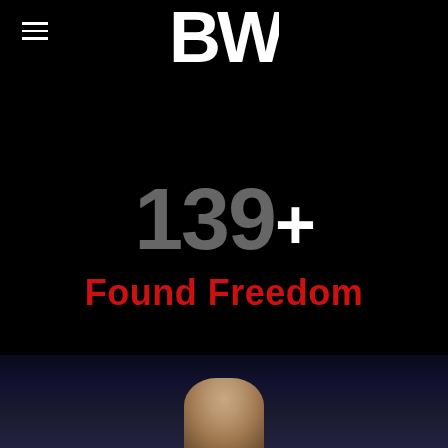[Figure (logo): BWK logo in white at top center]
139+
Found Freedom
[Figure (photo): Dark scene with person visible at bottom, dark blue background]